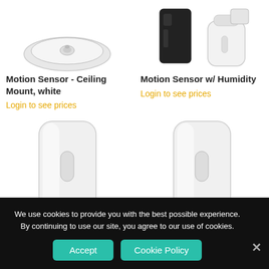[Figure (photo): Motion sensor - ceiling mount white, overhead view, white oval disc shape]
[Figure (photo): Motion sensor with humidity - black sensor device on left, white cylindrical sensor on right]
Motion Sensor - Ceiling Mount, white
Login to see prices
Motion Sensor w/ Humidity
Login to see prices
[Figure (photo): White cylindrical motion sensor, wall mount, front view]
[Figure (photo): White cylindrical motion sensor, wall mount, front view]
We use cookies to provide you with the best possible experience. By continuing to use our site, you agree to our use of cookies.
Accept
Cookie Policy